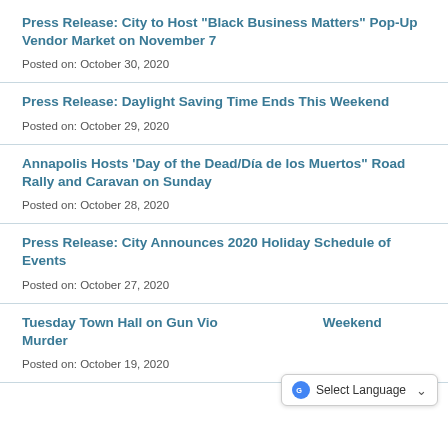Press Release: City to Host "Black Business Matters" Pop-Up Vendor Market on November 7
Posted on: October 30, 2020
Press Release: Daylight Saving Time Ends This Weekend
Posted on: October 29, 2020
Annapolis Hosts 'Day of the Dead/Día de los Muertos" Road Rally and Caravan on Sunday
Posted on: October 28, 2020
Press Release: City Announces 2020 Holiday Schedule of Events
Posted on: October 27, 2020
Tuesday Town Hall on Gun Violence Following Weekend Murder
Posted on: October 19, 2020